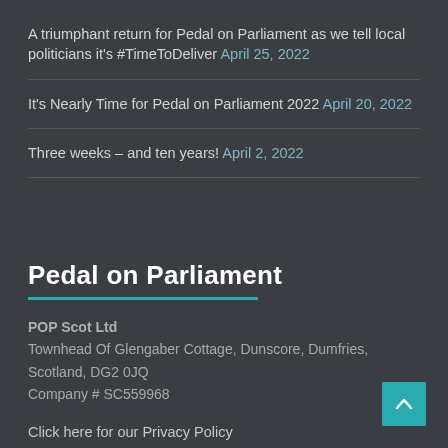A triumphant return for Pedal on Parliament as we tell local politicians it's #TimeToDeliver April 25, 2022
It's Nearly Time for Pedal on Parliament 2022 April 20, 2022
Three weeks – and ten years! April 2, 2022
Pedal on Parliament
POP Scot Ltd
Townhead Of Glengaber Cottage, Dunscore, Dumfries, Scotland, DG2 0JQ
Company # SC559968
Click here for our Privacy Policy